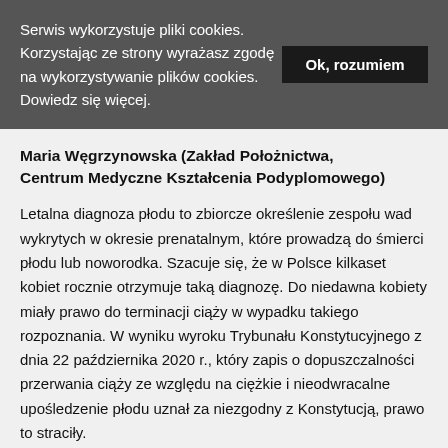Serwis wykorzystuje pliki cookies. Korzystając ze strony wyrażasz zgodę na wykorzystywanie plików cookies. Dowiedz się więcej.
Ok, rozumiem
Maria Węgrzynowska (Zakład Położnictwa, Centrum Medyczne Kształcenia Podyplomowego)
Letalna diagnoza płodu to zbiorcze określenie zespołu wad wykrytych w okresie prenatalnym, które prowadzą do śmierci płodu lub noworodka. Szacuje się, że w Polsce kilkaset kobiet rocznie otrzymuje taką diagnozę. Do niedawna kobiety miały prawo do terminacji ciąży w wypadku takiego rozpoznania. W wyniku wyroku Trybunału Konstytucyjnego z dnia 22 października 2020 r., który zapis o dopuszczalności przerwania ciąży ze względu na ciężkie i nieodwracalne upośledzenie płodu uznał za niezgodny z Konstytucją, prawo to straciły.